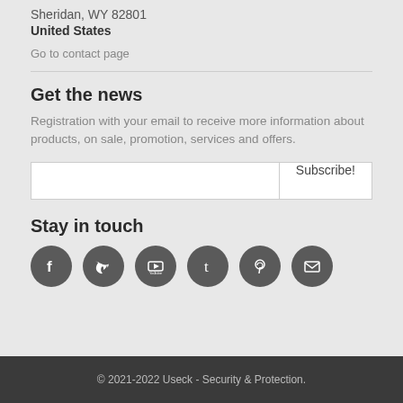Sheridan, WY 82801
United States
Go to contact page
Get the news
Registration with your email to receive more information about products, on sale, promotion, services and offers.
Stay in touch
[Figure (other): Social media icons: Facebook, Twitter, YouTube, Tumblr, Pinterest, Email]
© 2021-2022 Useck - Security & Protection.